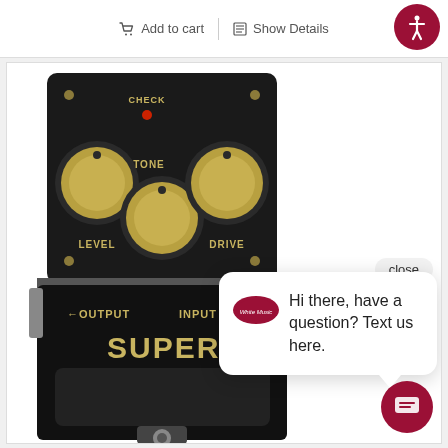Add to cart
Show Details
[Figure (photo): BOSS Super overdrive guitar effects pedal (black with gold knobs) showing LEVEL, TONE, and DRIVE controls, CHECK indicator, OUTPUT and INPUT labels, and SUPER text on the footswitch body]
close
Hi there, have a question? Text us here.